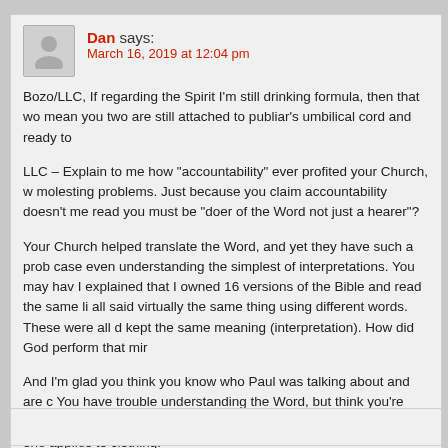Dan says: March 16, 2019 at 12:04 pm
Bozo/LLC, If regarding the Spirit I'm still drinking formula, then that wo mean you two are still attached to publiar's umbilical cord and ready to
LLC – Explain to me how "accountability" ever profited your Church, w molesting problems. Just because you claim accountability doesn't me read you must be "doer of the Word not just a hearer"?
Your Church helped translate the Word, and yet they have such a prob case even understanding the simplest of interpretations. You may hav I explained that I owned 16 versions of the Bible and read the same li all said virtually the same thing using different words. These were all d kept the same meaning (interpretation). How did God perform that mir
And I'm glad you think you know who Paul was talking about and are c You have trouble understanding the Word, but think you're some kind more like psycho? Ask the reflection in your toilet which one applies to clothing.